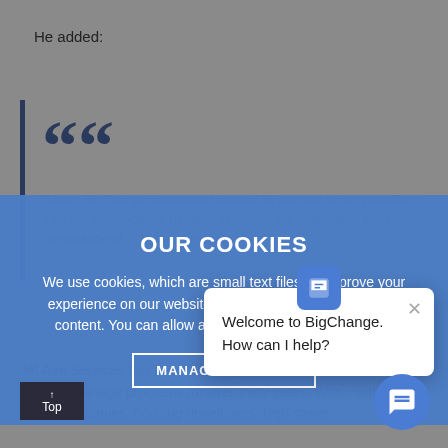He added:
“Using BigChange automated around 98 percent of our workflows. This not only reduces paper ... reducing the potential ... from compliance of ... of the workforce we...
OUR COOKIES
We use cookies, which are small text files, to improve your experience on our website and to show you personalised content. You can allow all or manage them individually.
MANAGE COOKIES
[Figure (screenshot): BigChange chat popup widget with logo icon, close button, and message: Welcome to BigChange. How can I help?]
Jet Aire Services has been devising drainage systems, solving drainage problems for over thirty years. Wor... with water companies, housing developers, high street...
Top